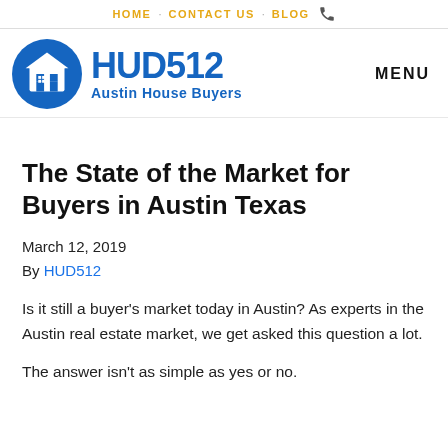HOME   CONTACT US   BLOG
[Figure (logo): HUD512 Austin House Buyers logo with blue circle containing a house icon, and HUD512 text in blue followed by Austin House Buyers subtitle]
The State of the Market for Buyers in Austin Texas
March 12, 2019
By HUD512
Is it still a buyer's market today in Austin? As experts in the Austin real estate market, we get asked this question a lot.
The answer isn't as simple as yes or no.